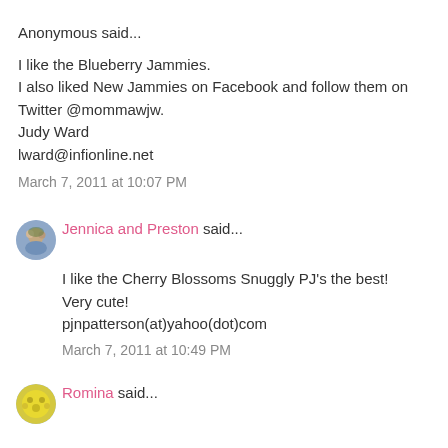Anonymous said...
I like the Blueberry Jammies.
I also liked New Jammies on Facebook and follow them on Twitter @mommawjw.
Judy Ward
lward@infionline.net
March 7, 2011 at 10:07 PM
[Figure (photo): Avatar photo of Jennica and Preston]
Jennica and Preston said...
I like the Cherry Blossoms Snuggly PJ's the best! Very cute!
pjnpatterson(at)yahoo(dot)com
March 7, 2011 at 10:49 PM
[Figure (photo): Avatar photo of Romina]
Romina said...